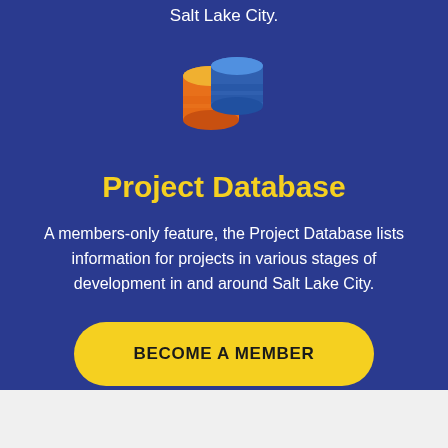Salt Lake City.
[Figure (illustration): Two stacked cylinder database icons — one orange/red gradient, one blue, overlapping to form a database symbol]
Project Database
A members-only feature, the Project Database lists information for projects in various stages of development in and around Salt Lake City.
BECOME A MEMBER